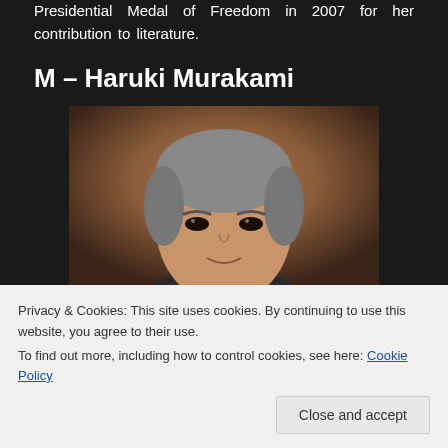Presidential Medal of Freedom in 2007 for her contribution to literature.
M – Haruki Murakami
[Figure (photo): Portrait photograph of Haruki Murakami against a brown textured background]
Privacy & Cookies: This site uses cookies. By continuing to use this website, you agree to their use.
To find out more, including how to control cookies, see here: Cookie Policy
Close and accept